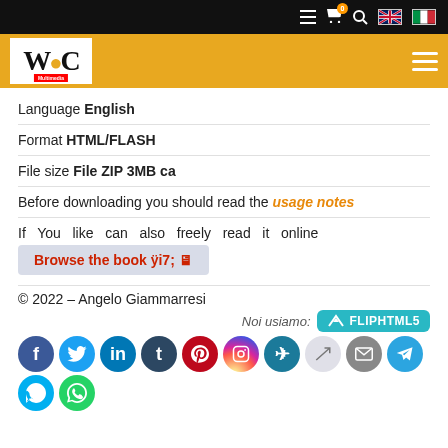WOC Multimedia website header with navigation icons
[Figure (logo): WOC Multimedia logo on gold/yellow header bar with hamburger menu]
Language English
Format HTML/FLASH
File size File ZIP 3MB ca
Before downloading you should read the usage notes
If You like can also freely read it online
Browse the book
© 2022 – Angelo Giammarresi
Noi usiamo: FLIPHTML5
[Figure (infographic): Social media sharing icons row: Facebook, Twitter, LinkedIn, Tumblr, Pinterest, Instagram, Xing, Edit, Mail, Telegram, Skype, WhatsApp]